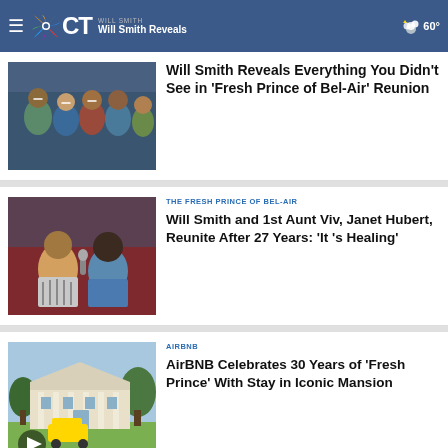WILL SMITH | Will Smith Reveals | 60°
[Figure (photo): Group photo of Fresh Prince of Bel-Air cast reunion — Will Smith and cast members smiling]
Will Smith Reveals Everything You Didn't See in 'Fresh Prince of Bel-Air' Reunion
[Figure (photo): Will Smith and Janet Hubert sitting and talking at a reunion event]
THE FRESH PRINCE OF BEL-AIR
Will Smith and 1st Aunt Viv, Janet Hubert, Reunite After 27 Years: 'It 's Healing'
[Figure (photo): Large white mansion with columns, trees, and a yellow taxi parked outside — the Fresh Prince mansion]
AIRBNB
AirBNB Celebrates 30 Years of 'Fresh Prince' With Stay in Iconic Mansion